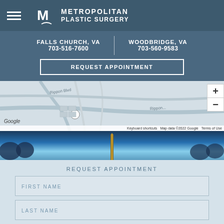Metropolitan Plastic Surgery
FALLS CHURCH, VA 703-516-7600 | WOODBRIDGE, VA 703-560-9583
REQUEST APPOINTMENT
[Figure (map): Google Maps screenshot showing Rippon Blvd area with Woodbridge VA roads and streets]
[Figure (photo): Photo of Washington Monument against blue sky with trees]
REQUEST APPOINTMENT
FIRST NAME
LAST NAME
PHONE